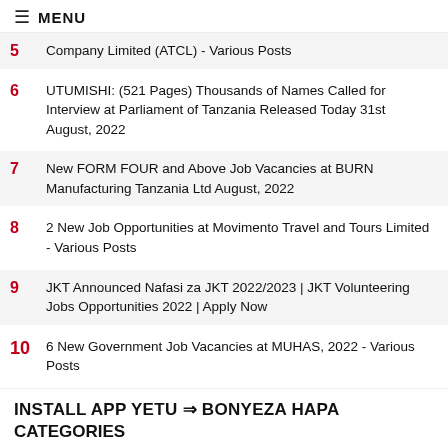≡ MENU
5 Company Limited (ATCL) - Various Posts
6 UTUMISHI: (521 Pages) Thousands of Names Called for Interview at Parliament of Tanzania Released Today 31st August, 2022
7 New FORM FOUR and Above Job Vacancies at BURN Manufacturing Tanzania Ltd August, 2022
8 2 New Job Opportunities at Movimento Travel and Tours Limited - Various Posts
9 JKT Announced Nafasi za JKT 2022/2023 | JKT Volunteering Jobs Opportunities 2022 | Apply Now
10 6 New Government Job Vacancies at MUHAS, 2022 - Various Posts
INSTALL APP YETU ⇒ BONYEZA HAPA
CATEGORIES